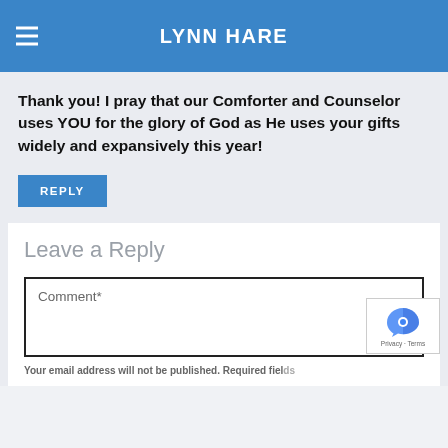LYNN HARE
Thank you! I pray that our Comforter and Counselor uses YOU for the glory of God as He uses your gifts widely and expansively this year!
Leave a Reply
Comment*
Your email address will not be published. Required fields